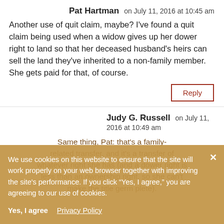Pat Hartman on July 11, 2016 at 10:45 am
Another use of quit claim, maybe? I've found a quit claim being used when a widow gives up her dower right to land so that her deceased husband's heirs can sell the land they've inherited to a non-family member. She gets paid for that, of course.
Reply
Judy G. Russell on July 11, 2016 at 10:49 am
Same thing, Pat: that's a family-related transfer, and it's a transfer of whatever right she has (and a dower right is less than an ownership right, so she can't make the title germ plete).
We use cookies on this website to ensure that the site will work properly on your web browser together with improving the site's performance. If you click "Yes, I agree," you are agreeing to our use of cookies.
Yes, I agree   Privacy Policy